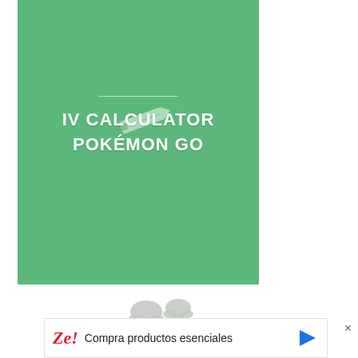[Figure (screenshot): Green rectangular block serving as the header/banner background for an IV Calculator Pokemon Go app or website]
IV CALCULATOR POKÉMON GO
[Figure (illustration): Pokemon feet/legs (Eevee or similar Pokemon) peeking from below the green block]
Compra productos esenciales